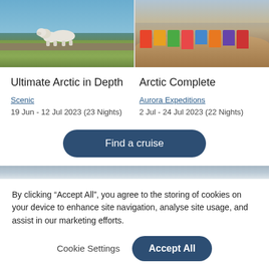[Figure (photo): Two side-by-side travel photos: left shows a polar bear walking on rocky tundra with blue sea in background; right shows colorful houses in an Arctic settlement against a hillside]
Ultimate Arctic in Depth
Scenic
19 Jun - 12 Jul 2023 (23 Nights)
Arctic Complete
Aurora Expeditions
2 Jul - 24 Jul 2023 (22 Nights)
Find a cruise
By clicking “Accept All”, you agree to the storing of cookies on your device to enhance site navigation, analyse site usage, and assist in our marketing efforts.
Cookie Settings
Accept All